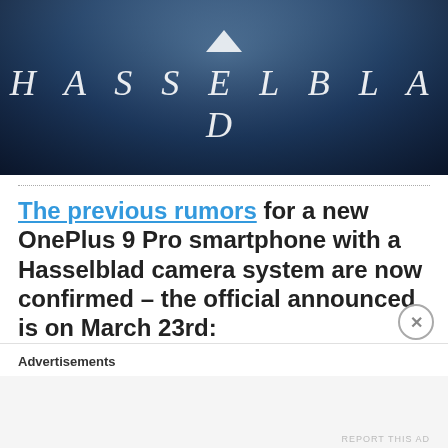[Figure (photo): Hasselblad logo/brand image showing the italic serif HASSELBLAD wordmark with a chevron above it, against a dark moody sky/water background]
The previous rumors for a new OnePlus 9 Pro smartphone with a Hasselblad camera system are now confirmed – the official announced is on March 23rd:
Oneplus 9 cell phone company puts a Hasselblad camera system in their cell phones. Is there a battle going on in the cell phone market to see who can come up with the best camera system in their phones? Might be interesting to
Advertisements